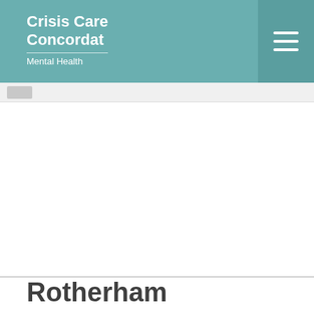Crisis Care Concordat Mental Health
Rotherham